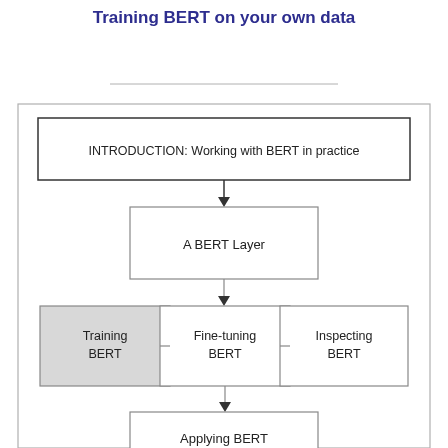Training BERT on your own data
[Figure (flowchart): Flowchart showing the structure of a BERT workflow. Top box: 'INTRODUCTION: Working with BERT in practice'. Arrow down to 'A BERT Layer' box. Arrow down to three side-by-side boxes: 'Training BERT' (gray filled, highlighted), 'Fine-tuning BERT', 'Inspecting BERT' with horizontal connectors. Arrow down from Fine-tuning BERT to 'Applying BERT' box at bottom.]